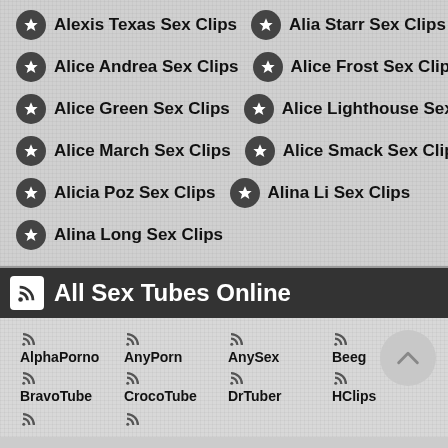Alexis Texas Sex Clips | Alia Starr Sex Clips
Alice Andrea Sex Clips | Alice Frost Sex Clips
Alice Green Sex Clips | Alice Lighthouse Sex Clips
Alice March Sex Clips | Alice Smack Sex Clips
Alicia Poz Sex Clips | Alina Li Sex Clips
Alina Long Sex Clips
All Sex Tubes Online
AlphaPorno
AnyPorn
AnySex
Beeg
BravoTube
CrocoTube
DrTuber
HClips